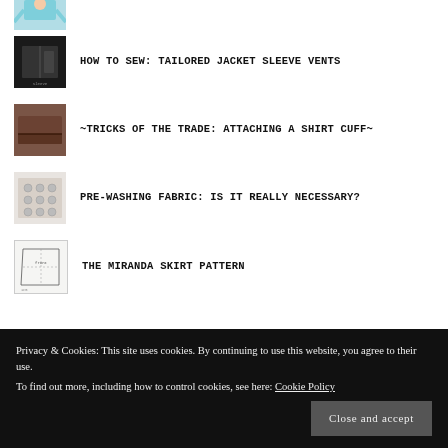[Figure (illustration): Partial thumbnail of a sewing/tailoring illustration at top of page]
HOW TO SEW: TAILORED JACKET SLEEVE VENTS
~TRICKS OF THE TRADE: ATTACHING A SHIRT CUFF~
PRE-WASHING FABRIC: IS IT REALLY NECESSARY?
THE MIRANDA SKIRT PATTERN
Privacy & Cookies: This site uses cookies. By continuing to use this website, you agree to their use.
To find out more, including how to control cookies, see here: Cookie Policy
Close and accept